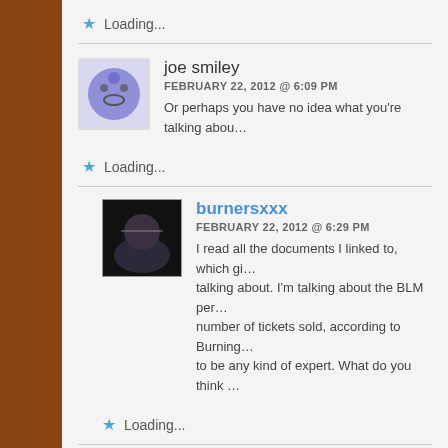Loading...
joe smiley
FEBRUARY 22, 2012 @ 6:09 PM
Or perhaps you have no idea what you're talking abou…
Loading...
burnersxxx
FEBRUARY 22, 2012 @ 6:29 PM
I read all the documents I linked to, which gi… talking about. I'm talking about the BLM per… number of tickets sold, according to Burning… to be any kind of expert. What do you think …
Loading...
joe smiley
FEBRUARY 24, 2012 @ 11:15 AM